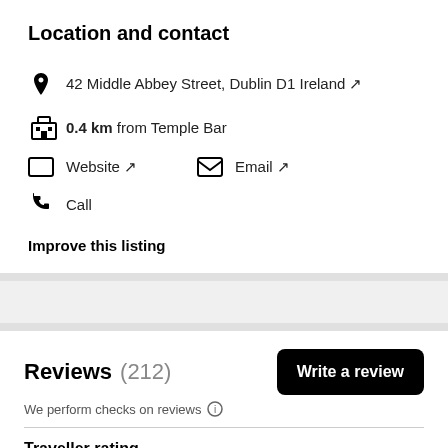Location and contact
42 Middle Abbey Street, Dublin D1 Ireland ↗
0.4 km from Temple Bar
Website ↗
Email ↗
Call
Improve this listing
Reviews (212)
We perform checks on reviews ℹ
Traveller rating